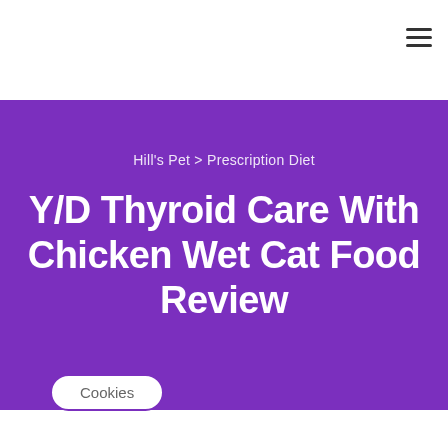≡
Hill's Pet > Prescription Diet
Y/D Thyroid Care With Chicken Wet Cat Food Review
Cookies